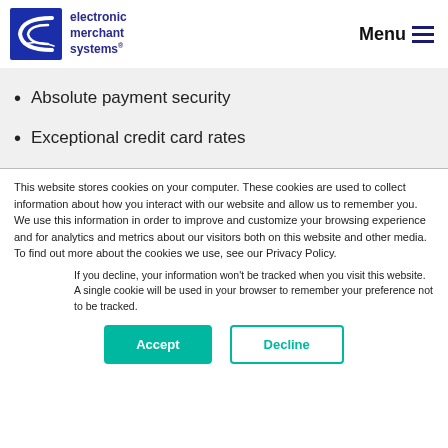electronic merchant systems
Absolute payment security
Exceptional credit card rates
This website stores cookies on your computer. These cookies are used to collect information about how you interact with our website and allow us to remember you. We use this information in order to improve and customize your browsing experience and for analytics and metrics about our visitors both on this website and other media. To find out more about the cookies we use, see our Privacy Policy.
If you decline, your information won’t be tracked when you visit this website. A single cookie will be used in your browser to remember your preference not to be tracked.